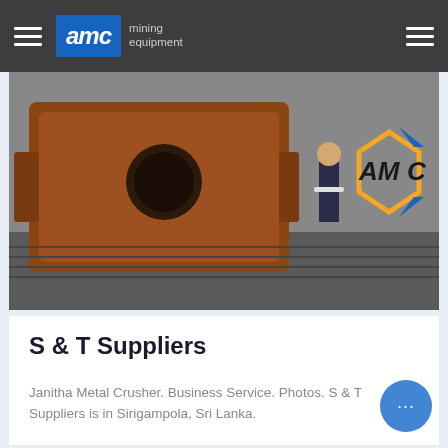AMC mining equipment
[Figure (photo): Industrial mining equipment photo showing a large metal crusher/machine in a workshop. A person is standing next to it holding papers. The AMC logo is visible in the background.]
S & T Suppliers
Janitha Metal Crusher. Business Service. Photos. S & T Suppliers is in Sirigampola, Sri Lanka.